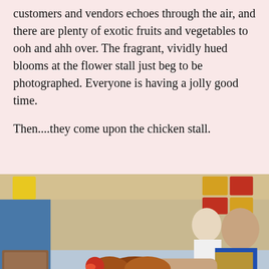customers and vendors echoes through the air, and there are plenty of exotic fruits and vegetables to ooh and ahh over. The fragrant, vividly hued blooms at the flower stall just beg to be photographed. Everyone is having a jolly good time.
Then....they come upon the chicken stall.
[Figure (photo): A vendor in a blue shirt and yellow apron weighing a live chicken at a market stall, with another person in white visible in the background and various market goods around.]
A chicken is weighed before being slaughtered.
For anyone who does all their shopping at a grocery store, the chicken stall is an eye-opener. If you're used to getting your chicken out of a refrigerated case on a styrofoam tray neatly wrapped in plastic film, the wet market chicken stall